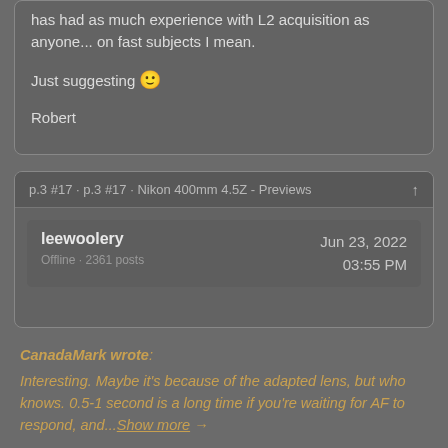has had as much experience with L2 acquisition as anyone... on fast subjects I mean.

Just suggesting 🙂

Robert
p.3 #17 · p.3 #17 · Nikon 400mm 4.5Z - Previews
leewoolery
Offline · 2361 posts
Jun 23, 2022
03:55 PM
CanadaMark wrote: Interesting. Maybe it's because of the adapted lens, but who knows. 0.5-1 second is a long time if you're waiting for AF to respond, and...Show more →